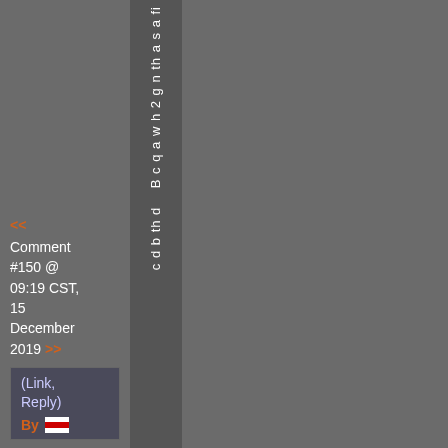c d b th d B c q a w h 2 g n th a s a fi
<< Comment #150 @ 09:19 CST, 15 December 2019 >>
(Link, Reply) By [flag]